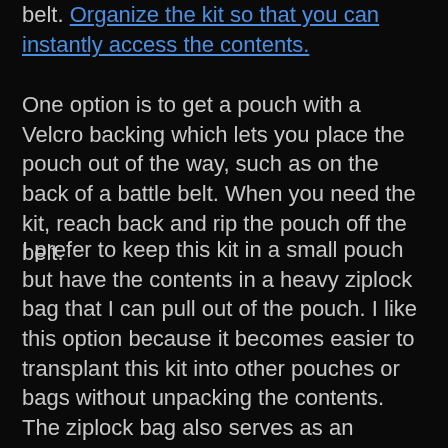belt. Organize the kit so that you can instantly access the contents.
One option is to get a pouch with a Velcro backing which lets you place the pouch out of the way, such as on the back of a battle belt. When you need the kit, reach back and rip the pouch off the belt.
I prefer to keep this kit in a small pouch but have the contents in a heavy ziplock bag that I can pull out of the pouch. I like this option because it becomes easier to transplant this kit into other pouches or bags without unpacking the contents. The ziplock bag also serves as an improvised chest seal as well.
What to Pack in Your IFAK/Items for Wound Kit
These kits need to be tailored to the user's training, skill level, and individual purpose and capabilities...